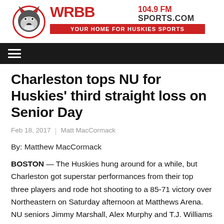WRBB 104.9 FM Sports.com — Your Home for Huskies Sports
Charleston tops NU for Huskies' third straight loss on Senior Day
Feb 18, 2017  |  Matt MacCormack
By: Matthew MacCormack
BOSTON —  The Huskies hung around for a while, but Charleston got superstar performances from their top three players and rode hot shooting to a 85-71 victory over Northeastern on Saturday afternoon at Matthews Arena. NU seniors Jimmy Marshall, Alex Murphy and T.J. Williams played their final game at Matthews Arena. Senior